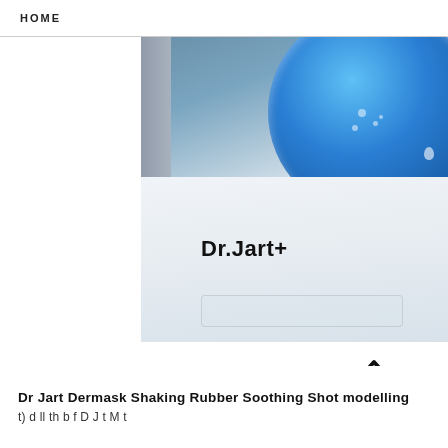HOME
[Figure (photo): Close-up product shot of Dr.Jart+ Dermask Shaking Rubber Soothing Shot modelling mask packaging. Shows a blue circular rubber mask pod with water droplets on it, sitting atop a white/silver foil package with the Dr.Jart+ logo printed in black.]
Dr Jart Dermask Shaking Rubber Soothing Shot modelling
t) d ll th b f D J t M t